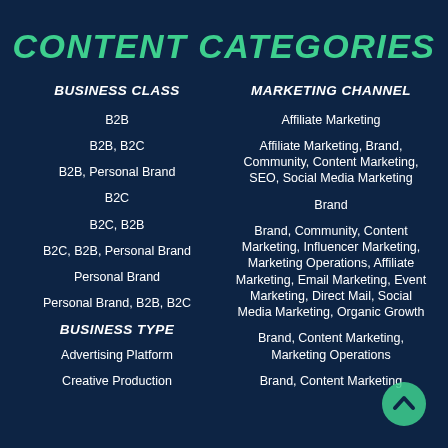CONTENT CATEGORIES
BUSINESS CLASS
B2B
B2B, B2C
B2B, Personal Brand
B2C
B2C, B2B
B2C, B2B, Personal Brand
Personal Brand
Personal Brand, B2B, B2C
BUSINESS TYPE
Advertising Platform
Creative Production
MARKETING CHANNEL
Affiliate Marketing
Affiliate Marketing, Brand, Community, Content Marketing, SEO, Social Media Marketing
Brand
Brand, Community, Content Marketing, Influencer Marketing, Marketing Operations, Affiliate Marketing, Email Marketing, Event Marketing, Direct Mail, Social Media Marketing, Organic Growth
Brand, Content Marketing, Marketing Operations
Brand, Content Marketing